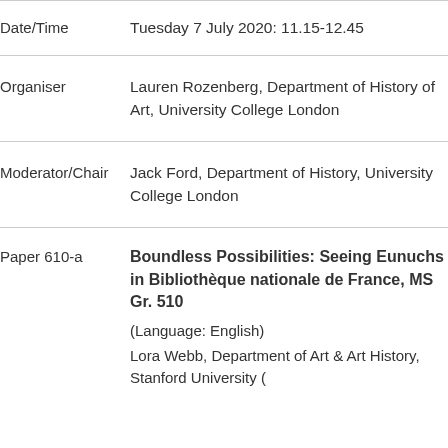| Label | Value |
| --- | --- |
| Date/Time | Tuesday 7 July 2020: 11.15-12.45 |
| Organiser | Lauren Rozenberg, Department of History of Art, University College London |
| Moderator/Chair | Jack Ford, Department of History, University College London |
| Paper 610-a | Boundless Possibilities: Seeing Eunuchs in Bibliothèque nationale de France, MS Gr. 510
(Language: English)
Lora Webb, Department of Art & Art History, Stanford University ( |